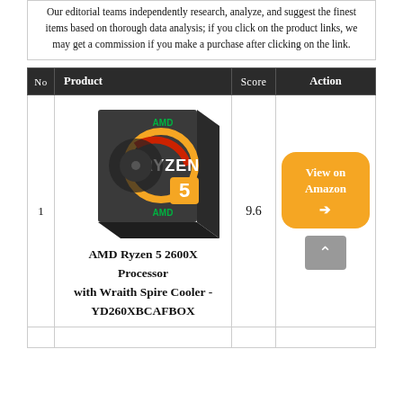Our editorial teams independently research, analyze, and suggest the finest items based on thorough data analysis; if you click on the product links, we may get a commission if you make a purchase after clicking on the link.
| No | Product | Score | Action |
| --- | --- | --- | --- |
| 1 | AMD Ryzen 5 2600X Processor with Wraith Spire Cooler - YD260XBCAFBOX | 9.6 | View on Amazon → |